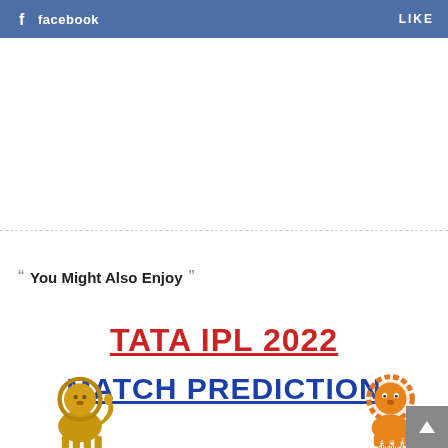facebook  LIKE
You Might Also Enjoy
[Figure (illustration): TATA IPL 2022 MATCH PREDICTION promotional image with RCB gold lion logo on left and CSK orange lion logo on right]
TATA IPL 2022
MATCH PREDICTION